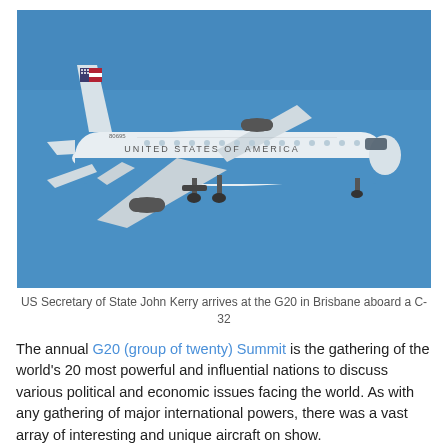[Figure (photo): US Air Force C-32 aircraft (white and blue livery with United States of America markings) in flight against a clear blue sky, landing gear deployed]
US Secretary of State John Kerry arrives at the G20 in Brisbane aboard a C-32
The annual G20 (group of twenty) Summit is the gathering of the world's 20 most powerful and influential nations to discuss various political and economic issues facing the world. As with any gathering of major international powers, there was a vast array of interesting and unique aircraft on show.
This year's summit was held in Brisbane, Australia, during the